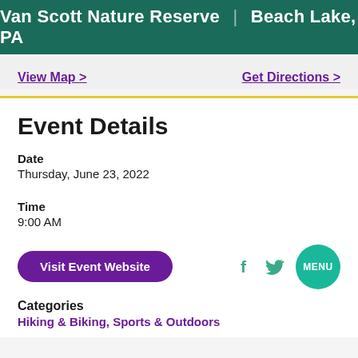Van Scott Nature Reserve | Beach Lake, PA
View Map >
Get Directions >
Event Details
Date
Thursday, June 23, 2022
Time
9:00 AM
Visit Event Website
Categories
Hiking & Biking, Sports & Outdoors